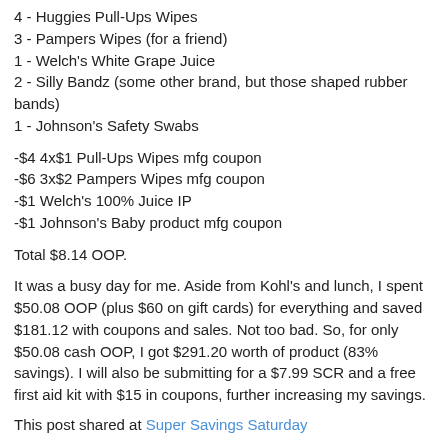4 - Huggies Pull-Ups Wipes
3 - Pampers Wipes (for a friend)
1 - Welch's White Grape Juice
2 - Silly Bandz (some other brand, but those shaped rubber bands)
1 - Johnson's Safety Swabs
-$4 4x$1 Pull-Ups Wipes mfg coupon
-$6 3x$2 Pampers Wipes mfg coupon
-$1 Welch's 100% Juice IP
-$1 Johnson's Baby product mfg coupon
Total $8.14 OOP.
It was a busy day for me. Aside from Kohl's and lunch, I spent $50.08 OOP (plus $60 on gift cards) for everything and saved $181.12 with coupons and sales. Not too bad. So, for only $50.08 cash OOP, I got $291.20 worth of product (83% savings). I will also be submitting for a $7.99 SCR and a free first aid kit with $15 in coupons, further increasing my savings.
This post shared at Super Savings Saturday